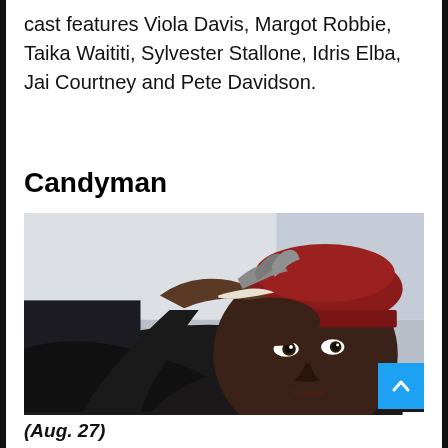cast features Viola Davis, Margot Robbie, Taika Waititi, Sylvester Stallone, Idris Elba, Jai Courtney and Pete Davidson.
Candyman
[Figure (photo): A man wearing a dark jacket and a red knit beanie hat, with a hand (showing scarred or bandaged fingertips) raised near his forehead, looking upward with a serious expression. Movie still from Candyman.]
(Aug. 27)